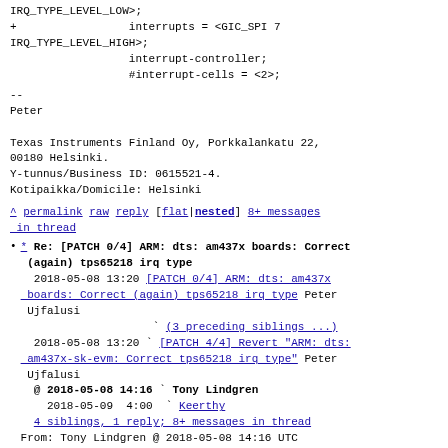IRQ_TYPE_LEVEL_LOW>;
+                 interrupts = <GIC_SPI 7 IRQ_TYPE_LEVEL_HIGH>;
                  interrupt-controller;
                  #interrupt-cells = <2>;
--
Peter

Texas Instruments Finland Oy, Porkkalankatu 22,
00180 Helsinki.
Y-tunnus/Business ID: 0615521-4.
Kotipaikka/Domicile: Helsinki
^ permalink raw reply    [flat|nested] 8+ messages in thread
* Re: [PATCH 0/4] ARM: dts: am437x boards: Correct (again) tps65218 irq type
  2018-05-08 13:20  [PATCH 0/4] ARM: dts: am437x boards: Correct (again) tps65218 irq type Peter Ujfalusi
                    (3 preceding siblings ...)
  2018-05-08 13:20  [PATCH 4/4] Revert "ARM: dts: am437x-sk-evm: Correct tps65218 irq type" Peter Ujfalusi
  @ 2018-05-08 14:16  Tony Lindgren
    2018-05-09  4:00  Keerthy
  4 siblings, 1 reply; 8+ messages in thread
From: Tony Lindgren @ 2018-05-08 14:16 UTC